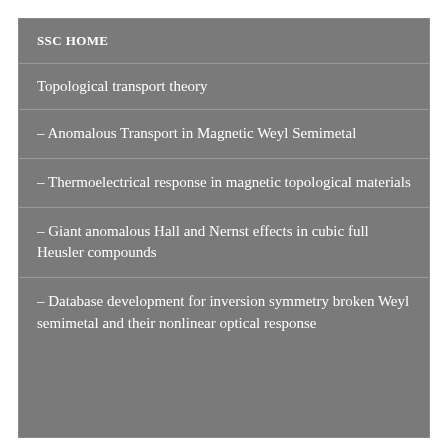SSC HOME
Topological transport theory
- Anomalous Transport in Magnetic Weyl Semimetal
- Thermoelectrical response in magnetic topological materials
- Giant anomalous Hall and Nernst effects in cubic full Heusler compounds
- Database development for inversion symmetry broken Weyl semimetal and their nonlinear optical response